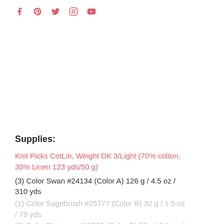Social media icons: Facebook, Pinterest, Twitter, Instagram, YouTube
Supplies:
Knit Picks CotLin, Weight DK 3/Light (70% cotton, 30% Linen 123 yds/50 g)
(3) Color Swan #24134 (Color A) 126 g / 4.5 oz / 310 yds
(1) Color Sagebrush #25777 (Color B) 32 g / 1.5 oz / 79 yds
(2) Color Flamingo #25322 (Color C) 87 g / 3.1 oz /